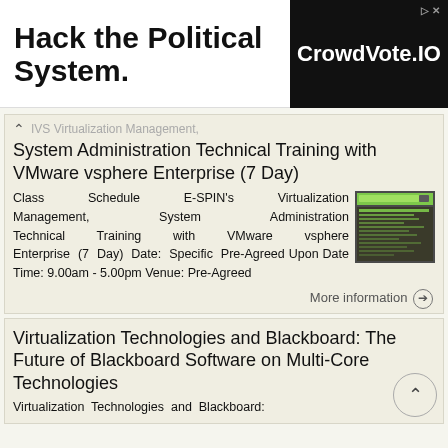[Figure (screenshot): Advertisement banner: 'Hack the Political System.' on left, 'CrowdVote.IO' logo on dark background on right]
IVS Virtualization Management, System Administration Technical Training with VMware vsphere Enterprise (7 Day)
Class Schedule E-SPIN's Virtualization Management, System Administration Technical Training with VMware vsphere Enterprise (7 Day) Date: Specific Pre-Agreed Upon Date Time: 9.00am - 5.00pm Venue: Pre-Agreed
More information →
Virtualization Technologies and Blackboard: The Future of Blackboard Software on Multi-Core Technologies
Virtualization Technologies and Blackboard: